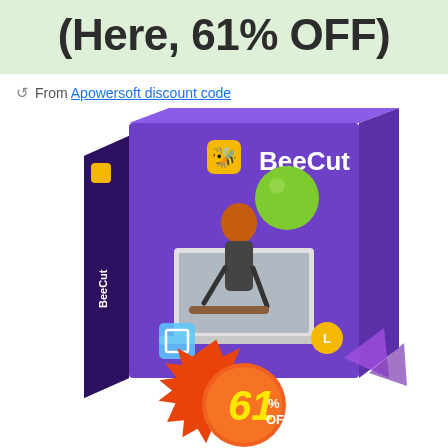(Here, 61% OFF)
From Apowersoft discount code
[Figure (illustration): BeeCut software product box with purple background, showing a skateboarder jumping out of a laptop screen, with decorative colored spheres, and a red/orange starburst badge showing 61% OFF]